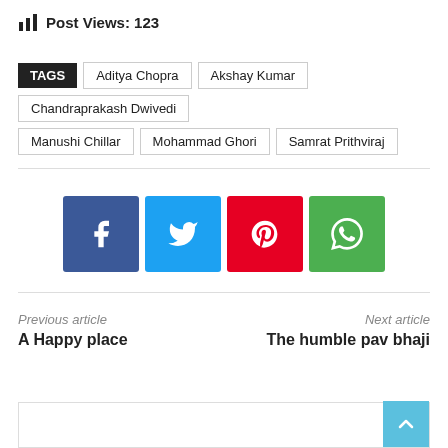Post Views: 123
TAGS  Aditya Chopra  Akshay Kumar  Chandraprakash Dwivedi  Manushi Chillar  Mohammad Ghori  Samrat Prithviraj
[Figure (infographic): Social share buttons: Facebook (blue), Twitter (light blue), Pinterest (red), WhatsApp (green)]
Previous article
A Happy place
Next article
The humble pav bhaji